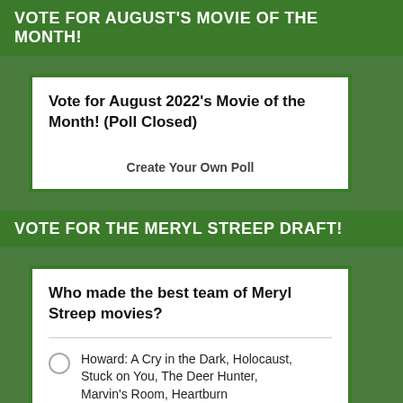VOTE FOR AUGUST'S MOVIE OF THE MONTH!
[Figure (other): Poll widget showing 'Vote for August 2022's Movie of the Month! (Poll Closed)' with a 'Create Your Own Poll' link]
VOTE FOR THE MERYL STREEP DRAFT!
Who made the best team of Meryl Streep movies?
Howard: A Cry in the Dark, Holocaust, Stuck on You, The Deer Hunter, Marvin's Room, Heartburn